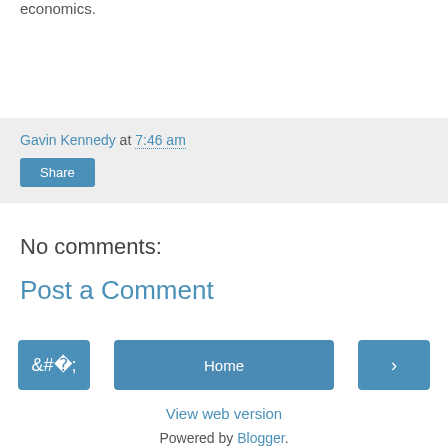economics.
Gavin Kennedy at 7:46 am
Share
No comments:
Post a Comment
‹  Home  ›
View web version
Powered by Blogger.